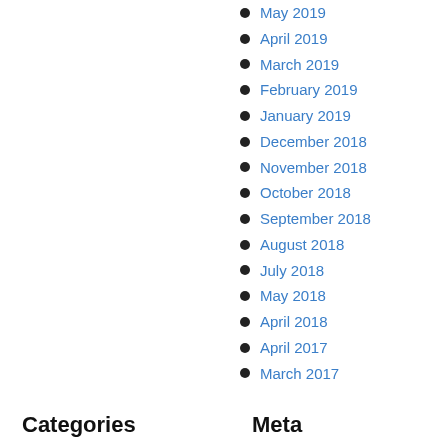May 2019
April 2019
March 2019
February 2019
January 2019
December 2018
November 2018
October 2018
September 2018
August 2018
July 2018
May 2018
April 2018
April 2017
March 2017
Categories
Meta